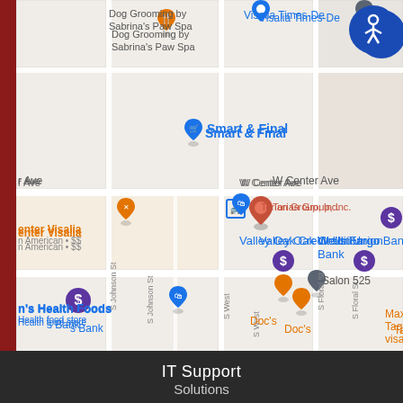[Figure (map): Google Maps view of downtown Visalia, CA showing location of Torian Group Inc. on W Center Ave, with nearby landmarks including Dog Grooming by Sabrina's Paw Spa, Smart & Final, Valley Oak Credit Union, Wells Fargo Bank, n's Health Foods, Salon 525, Maximo's Taqueria visalia, Doc's, and street labels S Johnson St, S West, S Floral St, W Center Ave, W Main St]
IT Support
Solutions